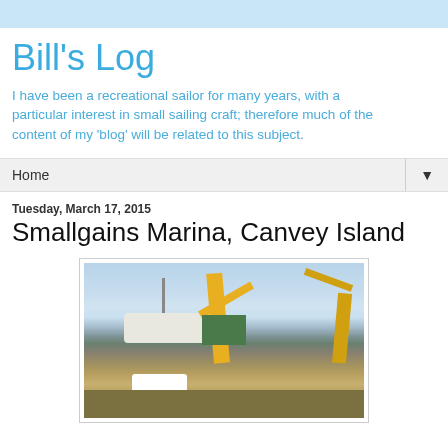Bill's Log
I have been a recreational sailor for many years, with a particular interest in small sailing craft; therefore much of the content of my 'blog' will be related to this subject.
Home
Tuesday, March 17, 2015
Smallgains Marina, Canvey Island
[Figure (photo): Photo of Smallgains Marina, Canvey Island showing boats on dry land, yellow cranes, a white van, and marina equipment and containers in the yard.]